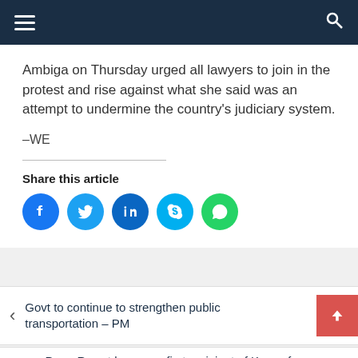Navigation bar with hamburger menu and search icon
Ambiga on Thursday urged all lawyers to join in the protest and rise against what she said was an attempt to undermine the country's judiciary system.
–WE
Share this article
[Figure (infographic): Social share buttons: Facebook, Twitter, LinkedIn, Skype, WhatsApp]
Govt to continue to strengthen public transportation – PM
Prem Rawat becomes first recipient of Keys of Avalon from Glastonbury City Council